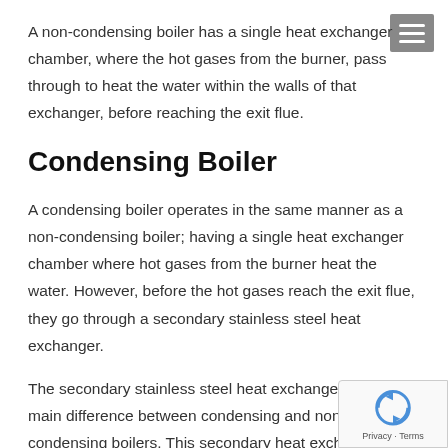A non-condensing boiler has a single heat exchanger chamber, where the hot gases from the burner, pass through to heat the water within the walls of that exchanger, before reaching the exit flue.
Condensing Boiler
A condensing boiler operates in the same manner as a non-condensing boiler; having a single heat exchanger chamber where hot gases from the burner heat the water. However, before the hot gases reach the exit flue, they go through a secondary stainless steel heat exchanger.
The secondary stainless steel heat exchanger is the main difference between condensing and non-condensing boilers. This secondary heat exchanger lengthens the heat transfer time by increasing the surface area for good heat transfer between gases & water. The result of this is, it can give an increase in